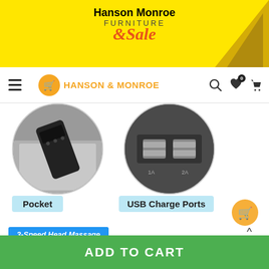[Figure (screenshot): Hanson Monroe Furniture Sale yellow banner with orange sale text]
Hanson Monroe Furniture Sale
[Figure (screenshot): Hanson & Monroe website navigation bar with logo, search, wishlist and cart icons]
[Figure (photo): Round close-up photo of sofa armrest pocket with a remote control inside]
Pocket
[Figure (photo): Round close-up photo of USB charge ports on sofa arm]
USB Charge Ports
[Figure (logo): Hanson & Monroe orange shopping cart logo watermark]
3-Speed Head Massage
3-Speed Foot Massa
TOP
ADD TO CART